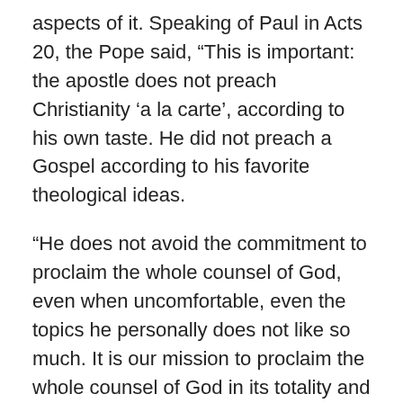aspects of it. Speaking of Paul in Acts 20, the Pope said, “This is important: the apostle does not preach Christianity ‘a la carte’, according to his own taste. He did not preach a Gospel according to his favorite theological ideas.
“He does not avoid the commitment to proclaim the whole counsel of God, even when uncomfortable, even the topics he personally does not like so much. It is our mission to proclaim the whole counsel of God in its totality and ultimate simplicity. But it is important that we teach and preach – as St. Paul says here – and really bring the whole will of God.”
Amen. Why is it that so many evangelicals, who claim to take pride in being Bible-believing Christians...